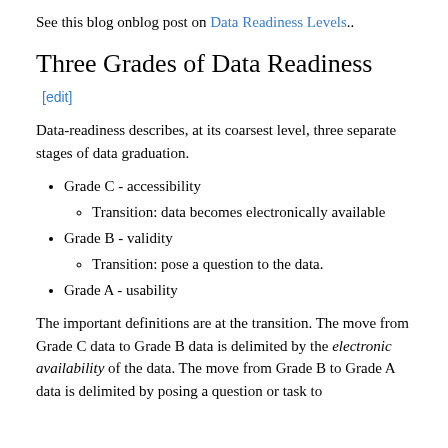See this blog onblog post on Data Readiness Levels..
Three Grades of Data Readiness [edit]
Data-readiness describes, at its coarsest level, three separate stages of data graduation.
Grade C - accessibility
Transition: data becomes electronically available
Grade B - validity
Transition: pose a question to the data.
Grade A - usability
The important definitions are at the transition. The move from Grade C data to Grade B data is delimited by the electronic availability of the data. The move from Grade B to Grade A data is delimited by posing a question or task to